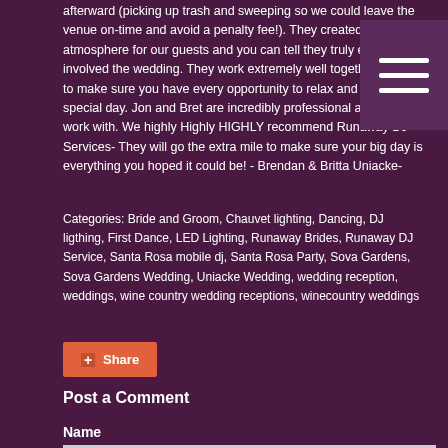afterward (picking up trash and sweeping so we could leave the venue on-time and avoid a penalty fee!). They created a lovely atmosphere for our guests and you can tell they truly enjoyed being involved the wedding. They work extremely well together as a team to make sure you have every opportunity to relax and enjoy your special day. Jon and Bret are incredibly professional and easy to work with. We highly Highly HIGHLY recommend Runaway DJ Services- They will go the extra mile to make sure your big day is everything you hoped it could be! - Brendan & Britta Uniacke-
Categories: Bride and Groom, Chauvet lighting, Dancing, DJ ligthing, First Dance, LED Lighting, Runaway Brides, Runaway DJ Service, Santa Rosa mobile dj, Santa Rosa Party, Sova Gardens, Sova Gardens Wedding, Uniacke Wedding, wedding reception, weddings, wine country wedding receptions, winecountry weddings
Post a Comment
Name